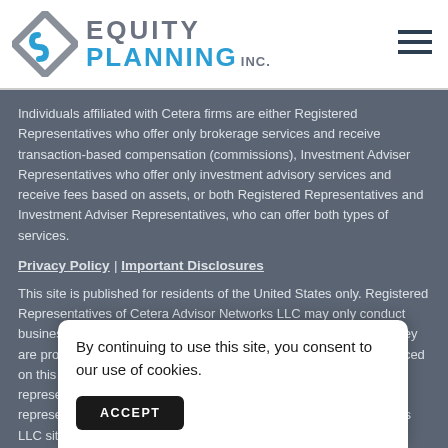EQUITY PLANNING INC.
Individuals affiliated with Cetera firms are either Registered Representatives who offer only brokerage services and receive transaction-based compensation (commissions), Investment Adviser Representatives who offer only investment advisory services and receive fees based on assets, or both Registered Representatives and Investment Adviser Representatives, who can offer both types of services.
Privacy Policy | Important Disclosures
This site is published for residents of the United States only. Registered Representatives of Cetera Advisor Networks LLC may only conduct business with residents of the states and/or jurisdictions in which they are properly registered. Not all of the products and services referenced on this site may be available in every state and through every representative listed. For additional information please contact the representative(s) listed on the site, visit the Cetera Advisor Networks LLC site at
By continuing to use this site, you consent to our use of cookies.